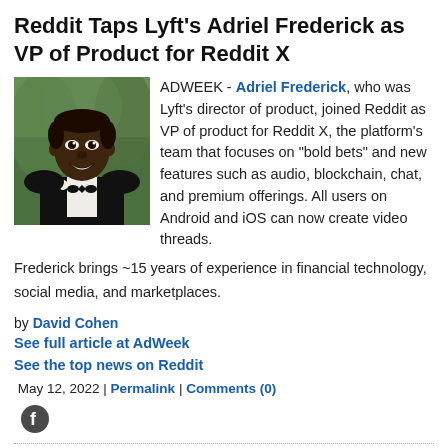Reddit Taps Lyft's Adriel Frederick as VP of Product for Reddit X
[Figure (photo): Portrait photo of Adriel Frederick, a man in a tuxedo with a bow tie and boutonnière, smiling, outdoors with green foliage background]
ADWEEK - Adriel Frederick, who was Lyft's director of product, joined Reddit as VP of product for Reddit X, the platform's team that focuses on "bold bets" and new features such as audio, blockchain, chat, and premium offerings. All users on Android and iOS can now create video threads.
Frederick brings ~15 years of experience in financial technology, social media, and marketplaces.
by David Cohen
See full article at AdWeek
See the top news on Reddit
May 12, 2022 | Permalink | Comments (0)